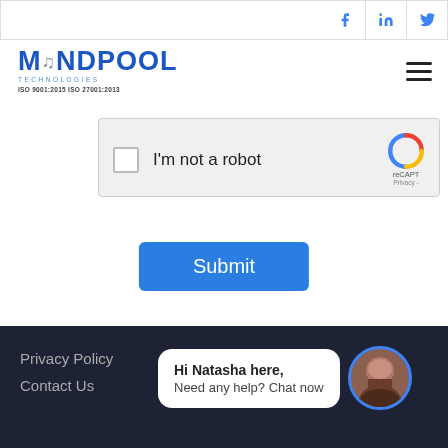[Figure (screenshot): Top navigation bar with Facebook, LinkedIn, Twitter social icons]
[Figure (logo): Mindpool Technologies logo with ISO 9001:2015 ISO 27001:2013 certification text]
[Figure (screenshot): reCAPTCHA widget with checkbox and 'I'm not a robot' label]
[Figure (screenshot): Blue Submit button]
Privacy Policy
Contact Us
[Figure (screenshot): Chat widget with message: Hi Natasha here, Need any help? Chat now, and avatar photo]